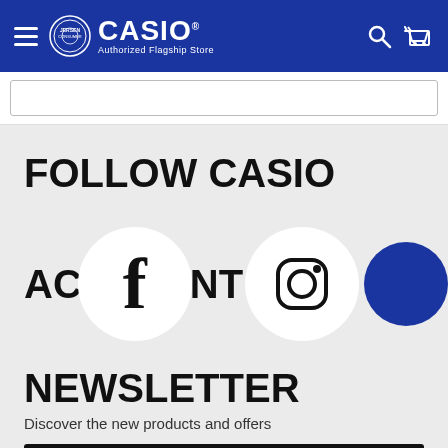CASIO Authorized Flagship Store — Jensen Consumer
[Figure (screenshot): Empty search bar input field]
FOLLOW CASIO
[Figure (logo): Facebook icon circle and Instagram icon circle with partial text 'AC' and 'NT' and blue circle on right]
NEWSLETTER
Discover the new products and offers